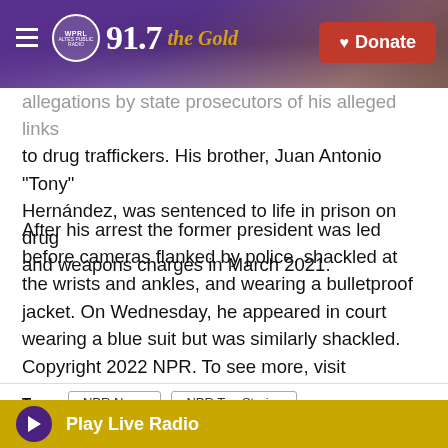WPRL 91.7 the Gold — Donate
allegations by state prosecutors of his alleged links to drug traffickers. His brother, Juan Antonio "Tony" Hernández, was sentenced to life in prison on drug and weapons charges in March 2021.
After his arrest the former president was led before cameras flanked by police, shackled at the wrists and ankles, and wearing a bulletproof jacket. On Wednesday, he appeared in court wearing a blue suit but was similarly shackled.
Copyright 2022 NPR. To see more, visit https://www.npr.org.
Tags  NPR News  NPR Top Stories
Play Live Radio